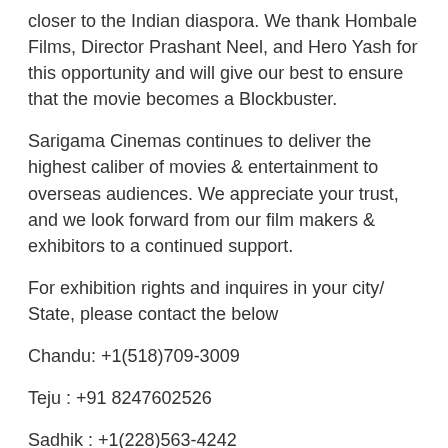closer to the Indian diaspora. We thank Hombale Films, Director Prashant Neel, and Hero Yash for this opportunity and will give our best to ensure that the movie becomes a Blockbuster.
Sarigama Cinemas continues to deliver the highest caliber of movies & entertainment to overseas audiences. We appreciate your trust, and we look forward from our film makers & exhibitors to a continued support.
For exhibition rights and inquires in your city/ State, please contact the below
Chandu: +1(518)709-3009
Teju : +91 8247602526
Sadhik : +1(228)563-4242